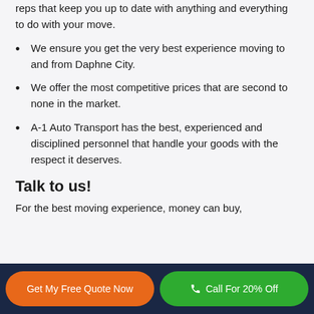reps that keep you up to date with anything and everything to do with your move.
We ensure you get the very best experience moving to and from Daphne City.
We offer the most competitive prices that are second to none in the market.
A-1 Auto Transport has the best, experienced and disciplined personnel that handle your goods with the respect it deserves.
Talk to us!
For the best moving experience, money can buy,
Get My Free Quote Now
Call For 20% Off